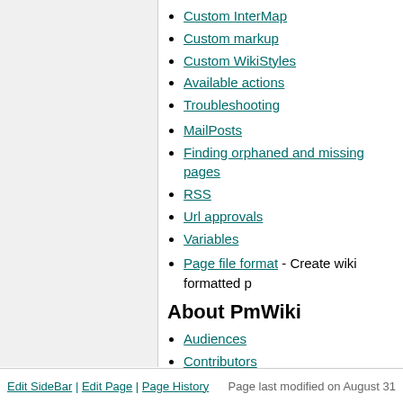Custom InterMap
Custom markup
Custom WikiStyles
Available actions
Troubleshooting
MailPosts
Finding orphaned and missing pages
RSS
Url approvals
Variables
Page file format - Create wiki formatted p
About PmWiki
Audiences
Contributors
Mailing lists
PmWikiPhilosophy
Design notes
Glossary
PmWiki 1.x and 2.0
Changes from PmWiki 1
Upgrading from PmWiki 1
Edit SideBar | Edit Page | Page History    Page last modified on August 31